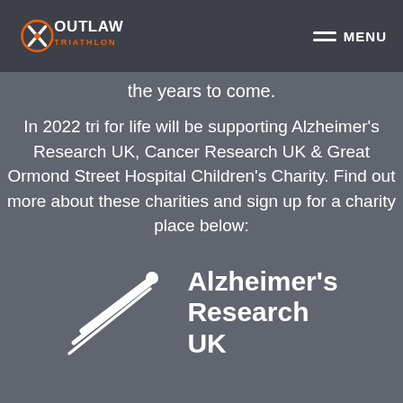OUTLAW TRIATHLON — MENU
the years to come.
In 2022 tri for life will be supporting Alzheimer's Research UK, Cancer Research UK & Great Ormond Street Hospital Children's Charity. Find out more about these charities and sign up for a charity place below:
[Figure (logo): Alzheimer's Research UK logo with white swoosh/arrow graphic and bold white text reading 'Alzheimer's Research UK']